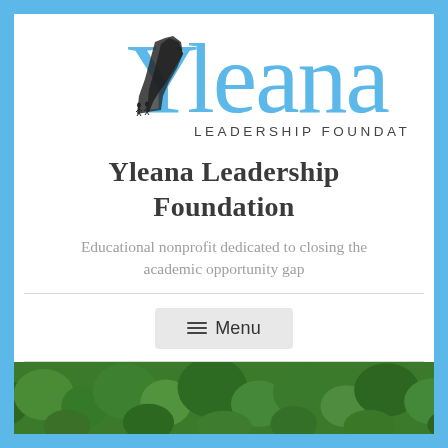[Figure (logo): Yleana Leadership Foundation logo: large light-blue text 'Yleana' with a stylized mountain silhouette forming the letter Y, black climbing figures, and 'LEADERSHIP FOUNDATION' in spaced caps beneath]
Yleana Leadership Foundation
Educational nonprofit dedicated to closing the academic opportunity gap
Menu
[Figure (photo): Aerial or overhead photo of dense green forest/treetops]